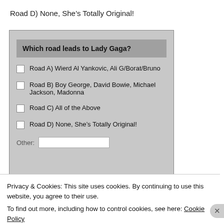Road D) None, She’s Totally Original!
[Figure (screenshot): Survey widget asking 'Which road leads to Lady Gaga?' with four checkbox options: Road A) Wierd Al Yankovic, Ali G/Borat/Bruno; Road B) Boy George, David Bowie, Michael Jackson, Madonna; Road C) All of the Above; Road D) None, She's Totally Original!; and a partially visible Other field.]
Privacy & Cookies: This site uses cookies. By continuing to use this website, you agree to their use.
To find out more, including how to control cookies, see here: Cookie Policy
Close and accept